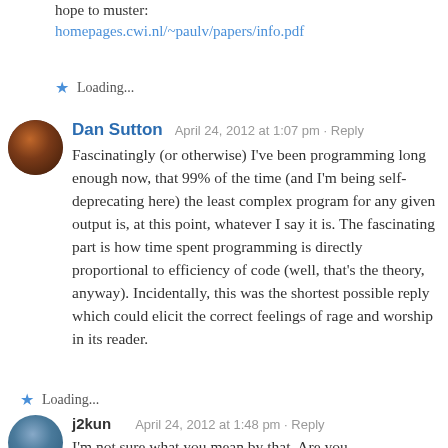hope to muster: homepages.cwi.nl/~paulv/papers/info.pdf
Loading...
Dan Sutton   April 24, 2012 at 1:07 pm · Reply
Fascinatingly (or otherwise) I've been programming long enough now, that 99% of the time (and I'm being self-deprecating here) the least complex program for any given output is, at this point, whatever I say it is. The fascinating part is how time spent programming is directly proportional to efficiency of code (well, that's the theory, anyway). Incidentally, this was the shortest possible reply which could elicit the correct feelings of rage and worship in its reader.
Loading...
j2kun   April 24, 2012 at 1:48 pm · Reply
I'm not sure what you mean by that. Are you